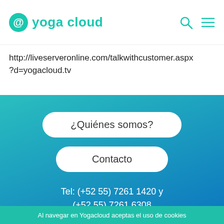yoga cloud
http://liveserveronline.com/talkwithcustomer.aspx?d=yogacloud.tv
¿Quiénes somos?
Contacto
Tel: (+52 55) 7261 1420 y (+52 55) 7261 6308
[Figure (infographic): Three social media icons: Twitter, Facebook, Instagram in white circles on teal background]
Al navegar en Yogacloud aceptas el uso de cookies